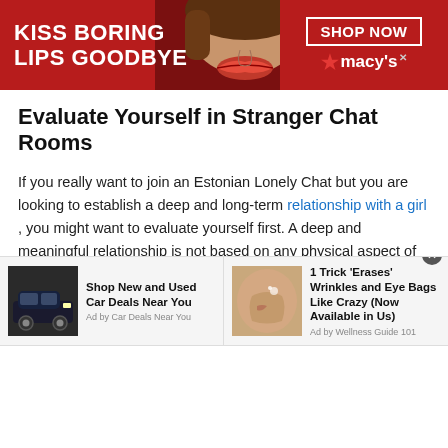[Figure (screenshot): Macy's advertisement banner with red background, woman's face with red lips in center, text 'KISS BORING LIPS GOODBYE' on left, 'SHOP NOW' button and Macy's star logo on right]
Evaluate Yourself in Stranger Chat Rooms
If you really want to join an Estonian Lonely Chat but you are looking to establish a deep and long-term relationship with a girl , you might want to evaluate yourself first. A deep and meaningful relationship is not based on any physical aspect of the other person.
If you feel like people only speak to you because of your looks, then it is a good idea to chat with a random
[Figure (screenshot): Two bottom advertisement panels: left shows SUV car image with 'Shop New and Used Car Deals Near You' by Car Deals Near You; right shows close-up image with '1 Trick Erases Wrinkles and Eye Bags Like Crazy (Now Available in Us)' by Wellness Guide 101]